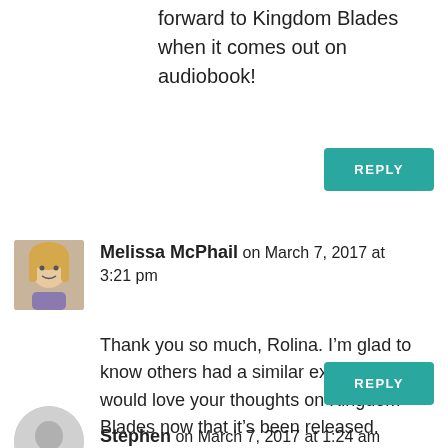forward to Kingdom Blades when it comes out on audiobook!
REPLY
Melissa McPhail on March 7, 2017 at 3:21 pm
Thank you so much, Rolina. I’m glad to know others had a similar experience. I would love your thoughts on Kingdom Blades now that it’s been released.
REPLY
Stephen on March 7, 2017 at 1:24 am